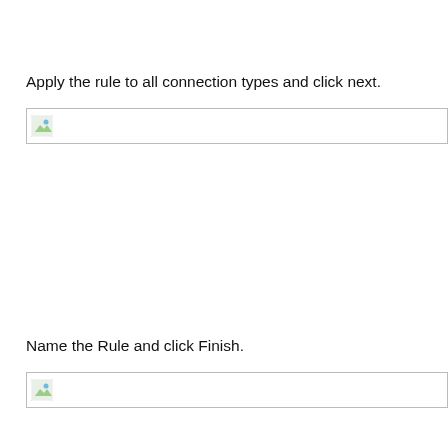Apply the rule to all connection types and click next.
[Figure (screenshot): Screenshot placeholder with broken image icon showing a dialog for connection type selection]
Name the Rule and click Finish.
[Figure (screenshot): Screenshot placeholder with broken image icon showing a dialog for naming the rule]